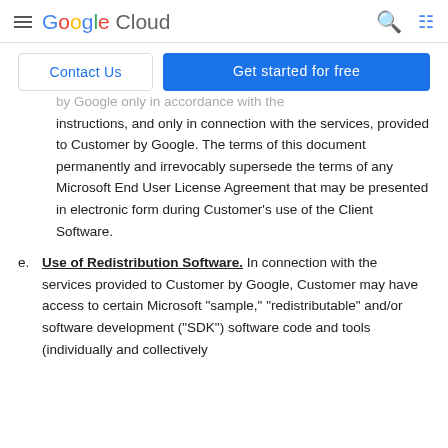Google Cloud
Contact Us | Get started for free
by Google only in accordance with the instructions, and only in connection with the services, provided to Customer by Google. The terms of this document permanently and irrevocably supersede the terms of any Microsoft End User License Agreement that may be presented in electronic form during Customer's use of the Client Software.
e. Use of Redistribution Software. In connection with the services provided to Customer by Google, Customer may have access to certain Microsoft "sample," "redistributable" and/or software development ("SDK") software code and tools (individually and collectively